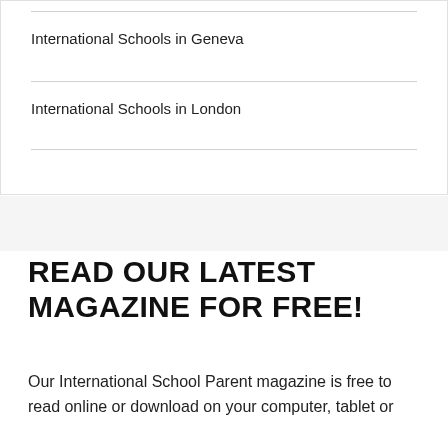International Schools in Geneva
International Schools in London
READ OUR LATEST MAGAZINE FOR FREE!
Our International School Parent magazine is free to read online or download on your computer, tablet or